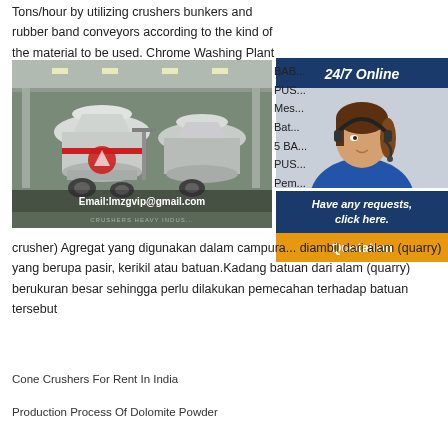Tons/hour by utilizing crushers bunkers and rubber band conveyors according to the kind of the material to be used. Chrome Washing Plant For Sale In
[Figure (photo): Industrial cone crusher machines inside a factory building. Email:lmzgvip@gmail.com overlay text at bottom.]
BAB... PUS... Mes... Bat... 5 BA... PUS... Pem... crusher) Agregat yang digunakan dalam campura... diambil dari alam (quarry) yang berupa pasir, kerikil atau batuan.Kadang batuan dari alam (quarry) berukuran besar sehingga perlu dilakukan pemecahan terhadap batuan tersebut
[Figure (photo): 24/7 Online customer support agent wearing headset. Have any requests, click here. Quotation button.]
Cone Crushers For Rent In India
Production Process Of Dolomite Powder